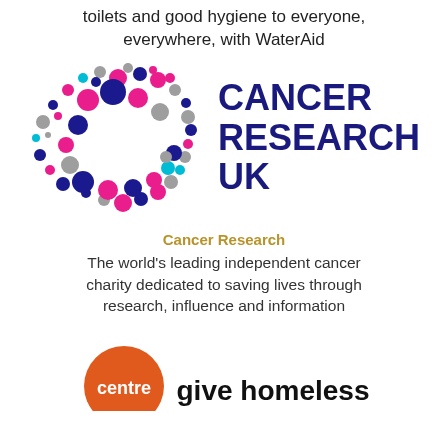toilets and good hygiene to everyone, everywhere, with WaterAid
[Figure (logo): Cancer Research UK logo: colorful dots arranged in a C shape (pink, blue, magenta, grey) with 'CANCER RESEARCH UK' text in dark navy blue bold font]
Cancer Research
The world's leading independent cancer charity dedicated to saving lives through research, influence and information
[Figure (logo): Centre logo: orange circle with white 'centre' text, and 'give homeless' text in bold black on the right]